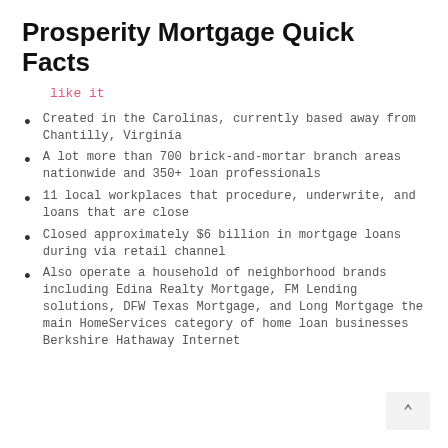Prosperity Mortgage Quick Facts
like it
Created in the Carolinas, currently based away from Chantilly, Virginia
A lot more than 700 brick-and-mortar branch areas nationwide and 350+ loan professionals
11 local workplaces that procedure, underwrite, and loans that are close
Closed approximately $6 billion in mortgage loans during via retail channel
Also operate a household of neighborhood brands including Edina Realty Mortgage, FM Lending solutions, DFW Texas Mortgage, and Long Mortgage the main HomeServices category of home loan businesses Berkshire Hathaway Internet